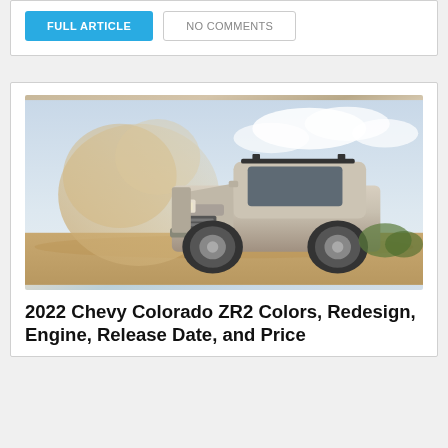FULL ARTICLE
NO COMMENTS
[Figure (photo): A silver/tan Chevy Colorado ZR2 pickup truck driving through a dusty desert terrain with a large cloud of dust/dirt behind it, blue sky with clouds in the background, roof rack visible on top of the truck]
2022 Chevy Colorado ZR2 Colors, Redesign, Engine, Release Date, and Price